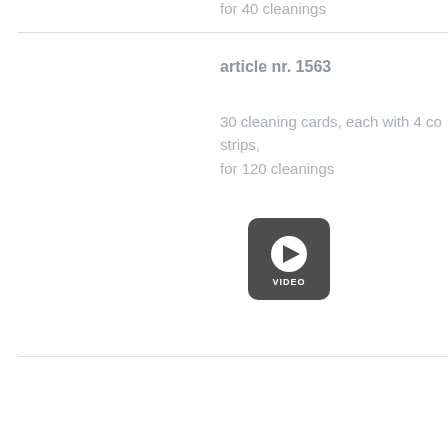for 40 cleanings
article nr. 1563
30 cleaning cards, each with 4 co strips,
for 120 cleanings
[Figure (illustration): Video play button icon with label VIDEO]